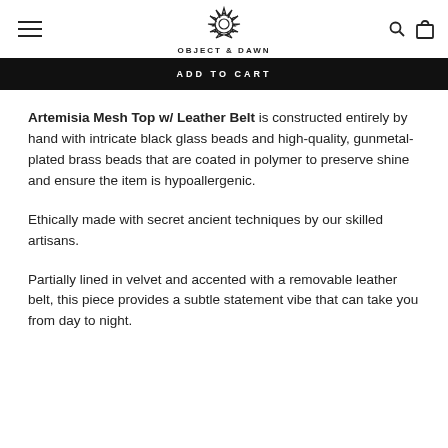OBJECT & DAWN
ADD TO CART
Artemisia Mesh Top w/ Leather Belt is constructed entirely by hand with intricate black glass beads and high-quality, gunmetal-plated brass beads that are coated in polymer to preserve shine and ensure the item is hypoallergenic.
Ethically made with secret ancient techniques by our skilled artisans.
Partially lined in velvet and accented with a removable leather belt, this piece provides a subtle statement vibe that can take you from day to night.